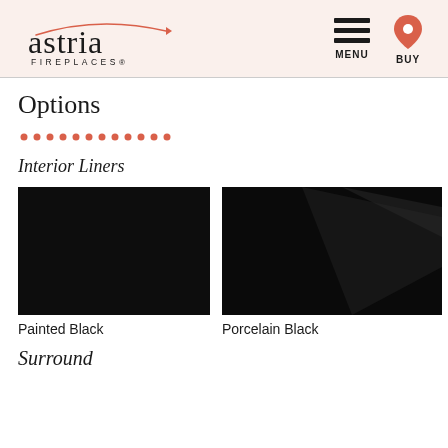Astria Fireplaces - MENU BUY
Options
Interior Liners
[Figure (photo): Painted Black interior liner - solid black matte finish]
Painted Black
[Figure (photo): Porcelain Black interior liner - glossy black finish with slight sheen]
Porcelain Black
Surrounds